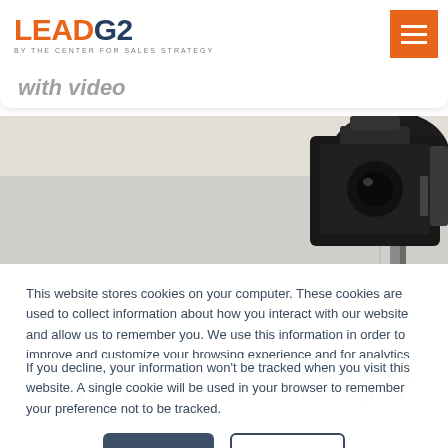LEADG2 by THE CENTER FOR SALES STRATEGY
with Video
[Figure (photo): A professional video camera on a mount or tripod, shown from below at an angle, with a plain ceiling and a metal rail visible in the background.]
This website stores cookies on your computer. These cookies are used to collect information about how you interact with our website and allow us to remember you. We use this information in order to improve and customize your browsing experience and for analytics and metrics about our visitors both on this website and other media. To find out more about the cookies we use, see our Privacy Policy
If you decline, your information won't be tracked when you visit this website. A single cookie will be used in your browser to remember your preference not to be tracked.